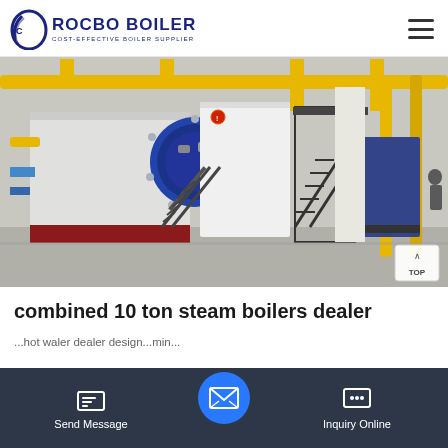ROCBO BOILER — COST-EFFECTIVE BOILER SUPPLIER
[Figure (photo): Industrial boiler room showing large blue/grey steam boilers mounted on red bases with yellow overhead pipework and metal staircases]
combined 10 ton steam boilers dealer
...hot water boiler dealer design...combined...
Send Message | Inquiry Online